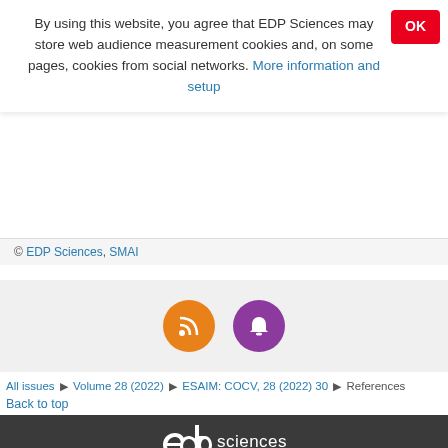By using this website, you agree that EDP Sciences may store web audience measurement cookies and, on some pages, cookies from social networks. More information and setup
© EDP Sciences, SMAI
[Figure (illustration): RSS feed orange circle icon and notification bell purple circle icon]
All issues ▶ Volume 28 (2022) ▶ ESAIM: COCV, 28 (2022) 30 ▶ References
Back to top
[Figure (logo): EDP Sciences logo in white on dark background]
Mentions légales   Contacts   Privacy policy
A Vision4Press website